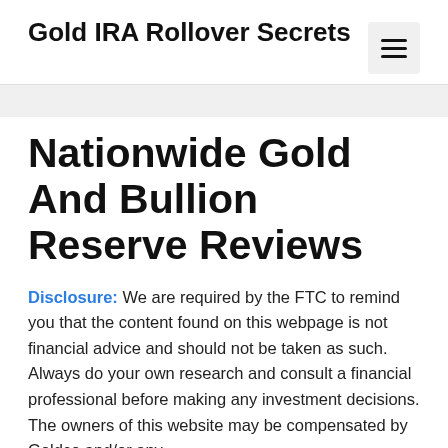Gold IRA Rollover Secrets
Nationwide Gold And Bullion Reserve Reviews
Disclosure: We are required by the FTC to remind you that the content found on this webpage is not financial advice and should not be taken as such. Always do your own research and consult a financial professional before making any investment decisions. The owners of this website may be compensated by Goldco and/or any